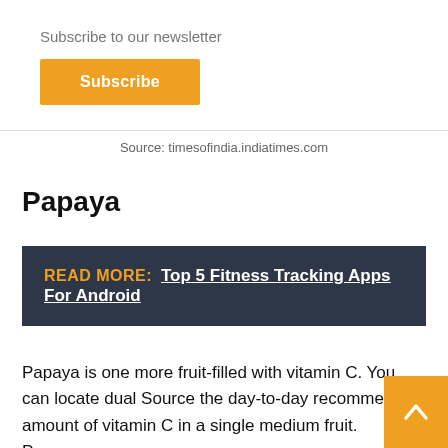Subscribe to our newsletter
Subscribe
×
Source: timesofindia.indiatimes.com
Papaya
READ MORE:  Top 5 Fitness Tracking Apps For Android
Papaya is one more fruit-filled with vitamin C. You can locate dual Source the day-to-day recommended amount of vitamin C in a single medium fruit. Papayas